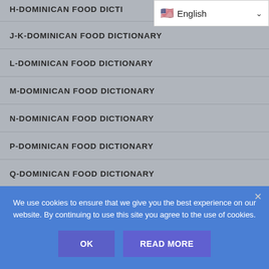H-DOMINICAN FOOD DICTIONARY
J-K-DOMINICAN FOOD DICTIONARY
L-DOMINICAN FOOD DICTIONARY
M-DOMINICAN FOOD DICTIONARY
N-DOMINICAN FOOD DICTIONARY
P-DOMINICAN FOOD DICTIONARY
Q-DOMINICAN FOOD DICTIONARY
R-DOMINICAN FOOD DICTIONARY
S-DOMINICAN FOOD DICTIONARY
We use cookies to ensure that we give you the best experience on our website. By continuing to use this site you agree to the use of cookies.